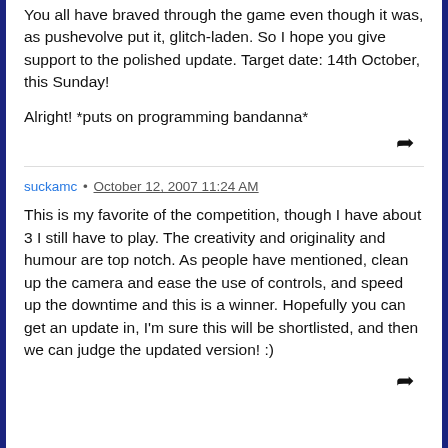You all have braved through the game even though it was, as pushevolve put it, glitch-laden. So I hope you give support to the polished update. Target date: 14th October, this Sunday!

Alright! *puts on programming bandanna*
suckamc • October 12, 2007 11:24 AM
This is my favorite of the competition, though I have about 3 I still have to play. The creativity and originality and humour are top notch. As people have mentioned, clean up the camera and ease the use of controls, and speed up the downtime and this is a winner. Hopefully you can get an update in, I'm sure this will be shortlisted, and then we can judge the updated version! :)